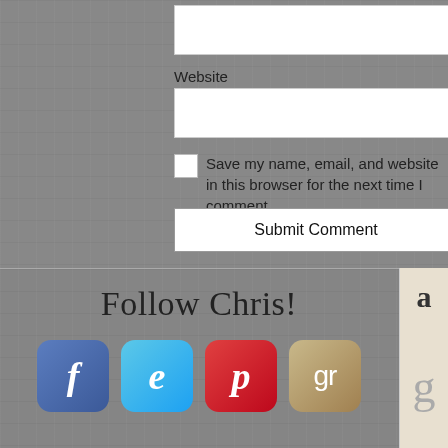Website
Save my name, email, and website in this browser for the next time I comment.
Submit Comment
Follow Chris!
[Figure (illustration): Four social media icon buttons: Facebook (blue, f), Twitter/X (cyan, stylized e), Pinterest (red, p), Goodreads (tan/gold, gr)]